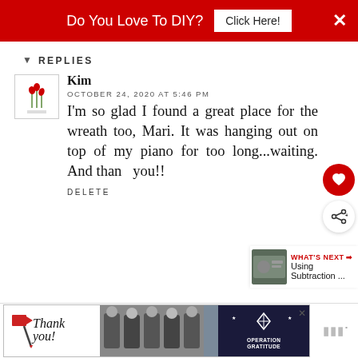Do You Love To DIY? Click Here!
REPLIES
Kim
OCTOBER 24, 2020 AT 5:46 PM
I'm so glad I found a great place for the wreath too, Mari. It was hanging out on top of my piano for too long...waiting. And thank you!!
DELETE
[Figure (screenshot): Bottom advertisement banner with thank you text, Operation Gratitude logo, and firefighter photo]
[Figure (infographic): What's Next section with small thumbnail and Using Subtraction text]